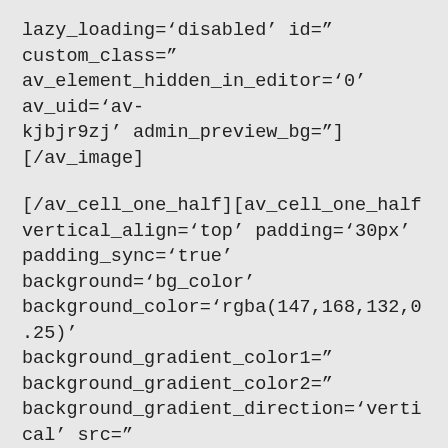lazy_loading='disabled' id=" custom_class=" av_element_hidden_in_editor='0' av_uid='av-kjbjr9zj' admin_preview_bg="][/av_image]
[/av_cell_one_half][av_cell_one_half vertical_align='top' padding='30px' padding_sync='true' background='bg_color' background_color='rgba(147,168,132,0.25)' background_gradient_color1=" background_gradient_color2=" background_gradient_direction='vertical' src=" attachment=" attachment_size=" background_attachment='scroll' background_position='top left' background_repeat='no-repeat' link=" linktarget=" link_hover=" mobile_display=" custom_class=" av_uid='av-lqiaex']